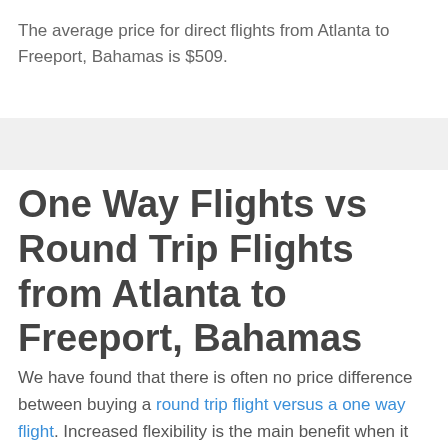The average price for direct flights from Atlanta to Freeport, Bahamas is $509.
One Way Flights vs Round Trip Flights from Atlanta to Freeport, Bahamas
We have found that there is often no price difference between buying a round trip flight versus a one way flight. Increased flexibility is the main benefit when it comes to buying a one way flight from Atlanta to